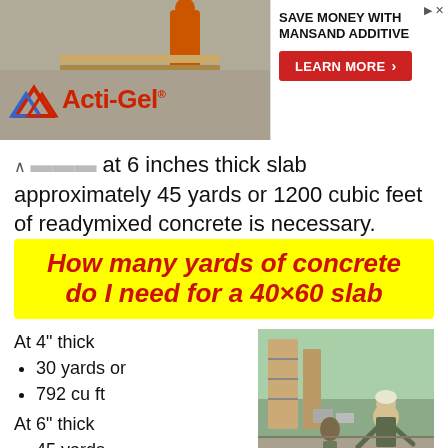[Figure (photo): Acti-Gel advertisement banner with logo on left and 'SAVE MONEY WITH MANSAND ADDITIVE / LEARN MORE' on right, with construction site photo in background]
...at 6 inches thick slab approximately 45 yards or 1200 cubic feet of readymixed concrete is necessary.
How many yards of concrete do I need for a 40×60 slab
At 4" thick
30 yards or
792 cu ft
At 6" thick
45 yards
1200 cu ft
[Figure (photo): Two construction workers pouring concrete at a building site]
How many yards of concrete do I need for a 40×60 slab